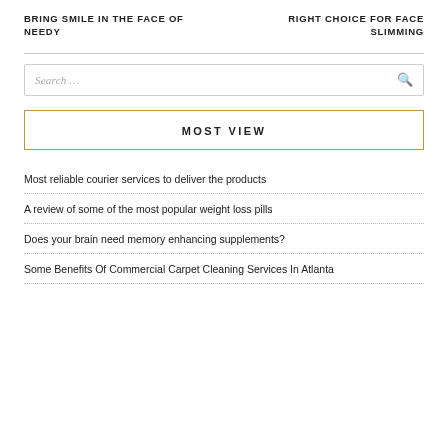BRING SMILE IN THE FACE OF NEEDY
RIGHT CHOICE FOR FACE SLIMMING
Search …
MOST VIEW
Most reliable courier services to deliver the products
A review of some of the most popular weight loss pills
Does your brain need memory enhancing supplements?
Some Benefits Of Commercial Carpet Cleaning Services In Atlanta